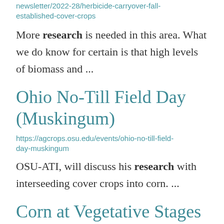newsletter/2022-28/herbicide-carryover-fall-established-cover-crops
More research is needed in this area. What we do know for certain is that high levels of biomass and ...
Ohio No-Till Field Day (Muskingum)
https://agcrops.osu.edu/events/ohio-no-till-field-day-muskingum
OSU-ATI, will discuss his research with interseeding cover crops into corn. ...
Corn at Vegetative Stages in August, will it Make it Safely to